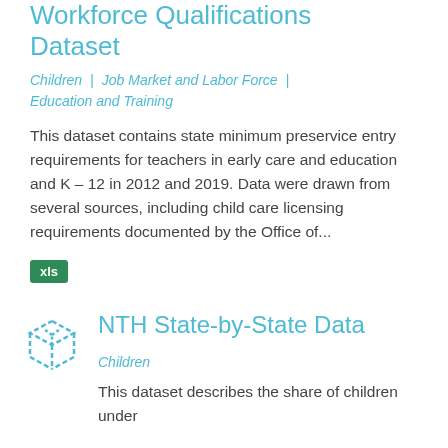Workforce Qualifications Dataset
Children | Job Market and Labor Force | Education and Training
This dataset contains state minimum preservice entry requirements for teachers in early care and education and K–12 in 2012 and 2019. Data were drawn from several sources, including child care licensing requirements documented by the Office of...
[Figure (other): Green badge/button labeled 'xls']
[Figure (other): Dashed blue cube icon representing a dataset]
NTH State-by-State Data
Children
This dataset describes the share of children under